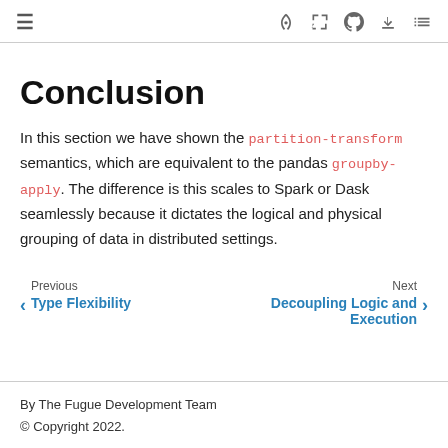≡  🚀 [ ] ⊙ ⬇ ☰
Conclusion
In this section we have shown the partition-transform semantics, which are equivalent to the pandas groupby-apply. The difference is this scales to Spark or Dask seamlessly because it dictates the logical and physical grouping of data in distributed settings.
Previous: Type Flexibility | Next: Decoupling Logic and Execution
By The Fugue Development Team
© Copyright 2022.